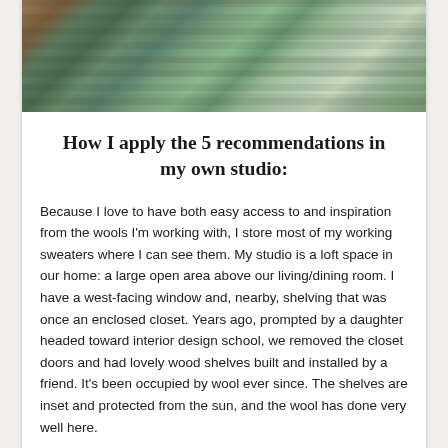[Figure (photo): Photo of neatly folded woolen sweaters/textiles stacked on shelves, in shades of green, teal, and earth tones.]
How I apply the 5 recommendations in my own studio:
Because I love to have both easy access to and inspiration from the wools I'm working with, I store most of my working sweaters where I can see them. My studio is a loft space in our home: a large open area above our living/dining room. I have a west-facing window and, nearby, shelving that was once an enclosed closet. Years ago, prompted by a daughter headed toward interior design school, we removed the closet doors and had lovely wood shelves built and installed by a friend. It's been occupied by wool ever since. The shelves are inset and protected from the sun, and the wool has done very well here.